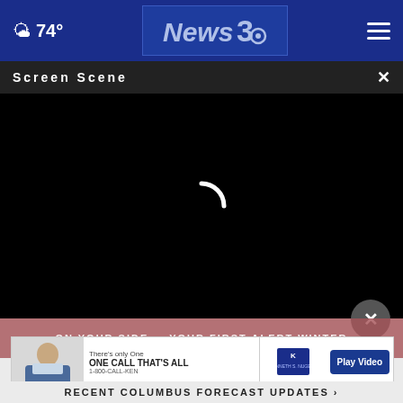74° News3 [header bar with weather and logo]
Screen Scene ×
[Figure (screenshot): Black video player area with loading spinner (white arc) in the center]
ON YOUR SIDE - YOUR FIRST ALERT WINTER
[Figure (infographic): Advertisement bar: There's only One ONE CALL THAT'S ALL | Kenneth S. Nugent logo | Play Video button | 1-800-CALL-KEN]
RECENT COLUMBUS FORECAST UPDATES ›